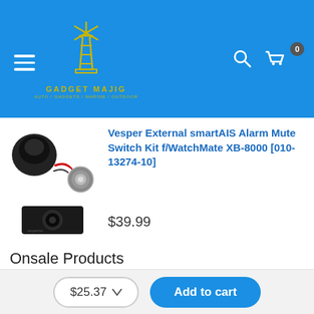Gadget Majig - Auto / Gadgets / Marine / Outdoor
Vesper External smartAIS Alarm Mute Switch Kit f/WatchMate XB-8000 [010-13274-10]
$39.99
Onsale Products
$25.37  Add to cart